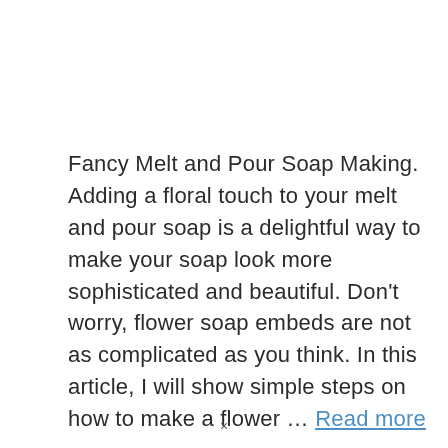Fancy Melt and Pour Soap Making. Adding a floral touch to your melt and pour soap is a delightful way to make your soap look more sophisticated and beautiful. Don't worry, flower soap embeds are not as complicated as you think. In this article, I will show simple steps on how to make a flower ... Read more
×